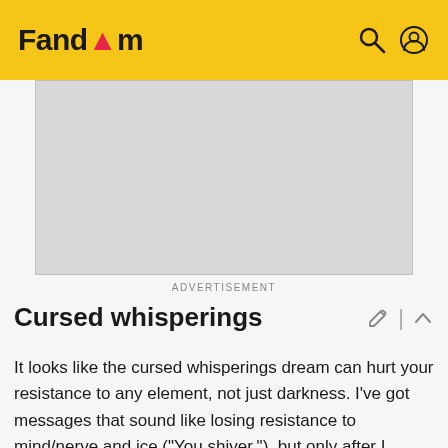Fandom
[Figure (other): Advertisement placeholder - grey rectangle]
ADVERTISEMENT
Cursed whisperings
It looks like the cursed whisperings dream can hurt your resistance to any element, not just darkness. I've got messages that sound like losing resistance to mind/nerve and ice ("You shiver."), but only after I actually gained some kind of intristic resistance to that element (e.g. eating ice ant corpses for ice resistance). 71113 62 57